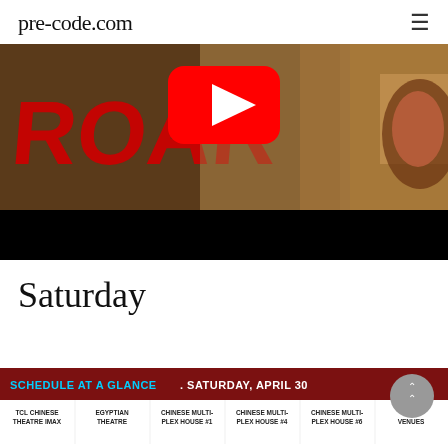pre-code.com
[Figure (screenshot): YouTube video thumbnail showing a lion with red 'ROAR' text overlay and a YouTube play button in the center. Bottom portion is a black bar.]
Saturday
[Figure (screenshot): Schedule at a glance banner for Saturday, April 30 showing venue columns: TCL Chinese Theatre IMAX, Egyptian Theatre, Chinese Multiplex House #1, Chinese Multiplex House #4, Chinese Multiplex House #6, Other Venues]